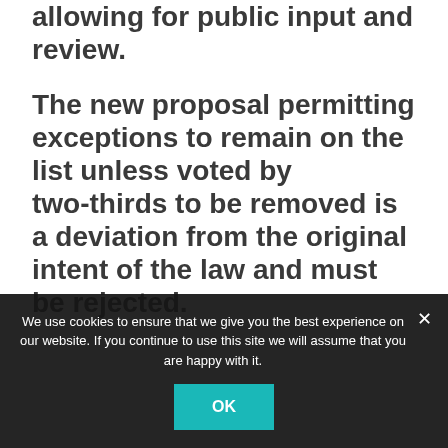allowing for public input and review.
The new proposal permitting exceptions to remain on the list unless voted by two-thirds to be removed is a deviation from the original intent of the law and must be rejected.
We use cookies to ensure that we give you the best experience on our website. If you continue to use this site we will assume that you are happy with it.